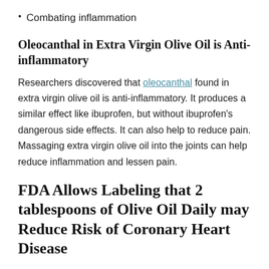Combating inflammation
Oleocanthal in Extra Virgin Olive Oil is Anti-inflammatory
Researchers discovered that oleocanthal found in extra virgin olive oil is anti-inflammatory. It produces a similar effect like ibuprofen, but without ibuprofen's dangerous side effects. It can also help to reduce pain. Massaging extra virgin olive oil into the joints can help reduce inflammation and lessen pain.
FDA Allows Labeling that 2 tablespoons of Olive Oil Daily may Reduce Risk of Coronary Heart Disease